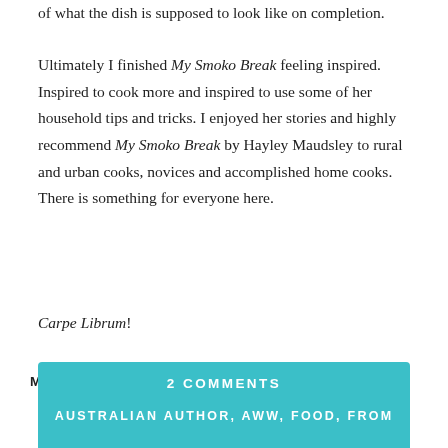of what the dish is supposed to look like on completion.
Ultimately I finished My Smoko Break feeling inspired. Inspired to cook more and inspired to use some of her household tips and tricks. I enjoyed her stories and highly recommend My Smoko Break by Hayley Maudsley to rural and urban cooks, novices and accomplished home cooks. There is something for everyone here.
Carpe Librum!
MY RATING: ★ ★ ★ ★ ★
2 COMMENTS
AUSTRALIAN AUTHOR, AWW, FOOD, FROM